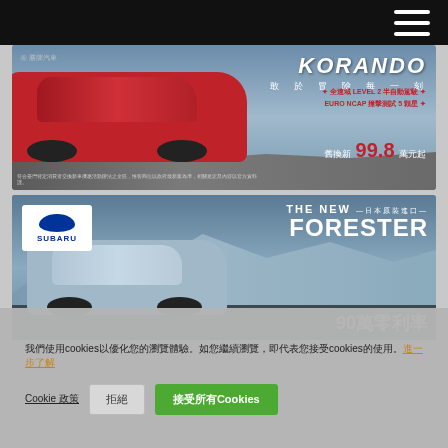[Figure (photo): Korando SUV advertisement banner. Red SUV on rocky terrain with man sitting behind it. Text: KORANDO, 敢於冒險每一刻, 全速域 LEVEL 2 半自動駕駛, EURO NCAP 撞擊測試 5 顆星, 舊換新 99.8 萬元起]
[Figure (photo): Subaru Forester advertisement banner. Silver/blue SUV with mountain background. Subaru logo. Text: THE NEW 日本原裝進口 FORESTER, 90萬零利率]
我們使用cookies以優化您的瀏覽體驗。如您繼續瀏覽，即代表您接受cookies的使用。進一步了解
Cookie 政策  拒絕  接受所有Cookies